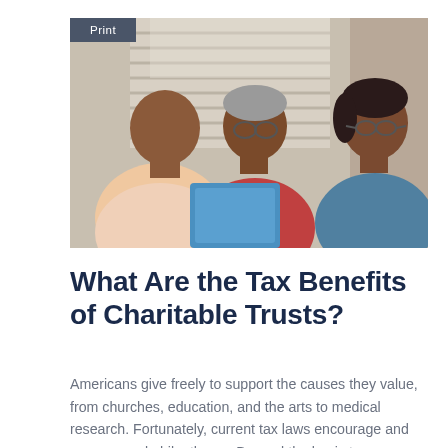[Figure (photo): Three people — a younger man in a light pink shirt, an older man in a red shirt wearing glasses, and a woman in a blue denim shirt wearing glasses — sitting together indoors reviewing documents, with window blinds in the background.]
What Are the Tax Benefits of Charitable Trusts?
Americans give freely to support the causes they value, from churches, education, and the arts to medical research. Fortunately, current tax laws encourage and even reward philanthropy. Beyond the basic tax deductions for charitable giving, setting